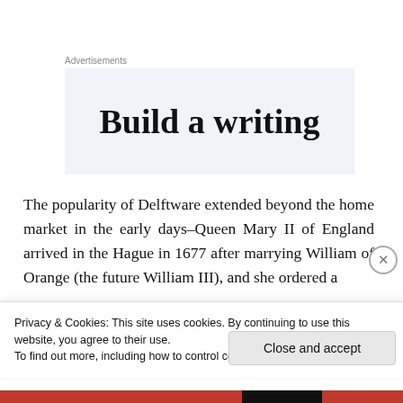Advertisements
[Figure (other): Advertisement banner with light blue-gray background showing text 'Build a writing']
The popularity of Delftware extended beyond the home market in the early days–Queen Mary II of England arrived in the Hague in 1677 after marrying William of Orange (the future William III), and she ordered a
Privacy & Cookies: This site uses cookies. By continuing to use this website, you agree to their use.
To find out more, including how to control cookies, see here: Cookie Policy
Close and accept